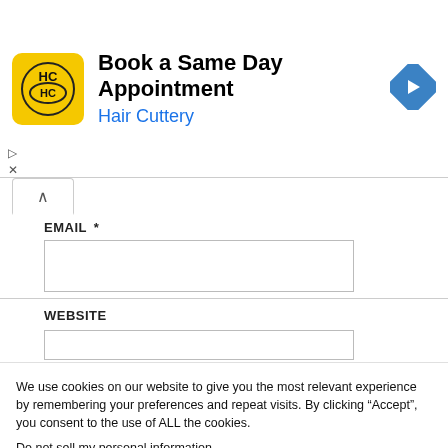[Figure (infographic): Hair Cuttery ad banner: yellow square logo with HC initials, 'Book a Same Day Appointment' heading, 'Hair Cuttery' subtitle in blue, blue diamond navigation arrow icon on the right]
EMAIL *
WEBSITE
We use cookies on our website to give you the most relevant experience by remembering your preferences and repeat visits. By clicking “Accept”, you consent to the use of ALL the cookies.
Do not sell my personal information.
Cookie Settings
Accept